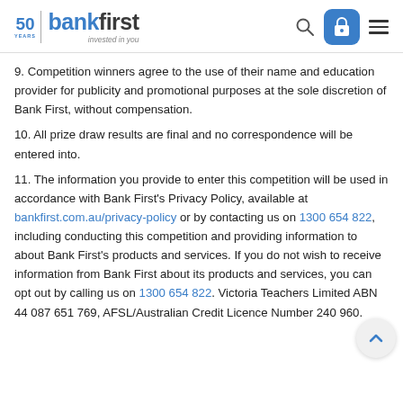bankfirst — invested in you
9. Competition winners agree to the use of their name and education provider for publicity and promotional purposes at the sole discretion of Bank First, without compensation.
10. All prize draw results are final and no correspondence will be entered into.
11. The information you provide to enter this competition will be used in accordance with Bank First's Privacy Policy, available at bankfirst.com.au/privacy-policy or by contacting us on 1300 654 822, including conducting this competition and providing information to about Bank First's products and services. If you do not wish to receive information from Bank First about its products and services, you can opt out by calling us on 1300 654 822. Victoria Teachers Limited ABN 44 087 651 769, AFSL/Australian Credit Licence Number 240 960.